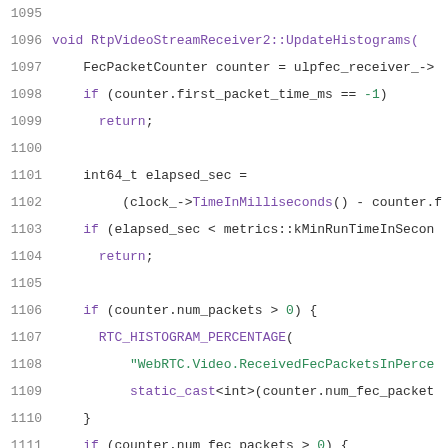[Figure (screenshot): Source code listing showing C++ function RtpVideoStreamReceiver2::UpdateHistograms, lines 1095-1116, with syntax highlighting on a white background.]